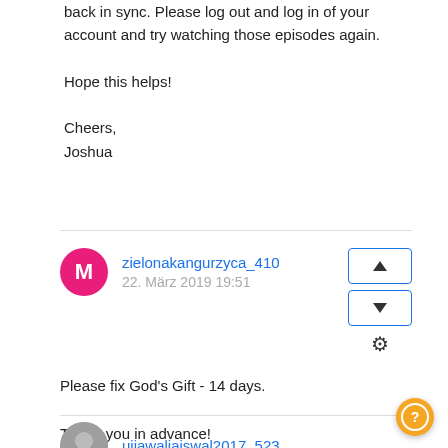back in sync. Please log out and log in of your account and try watching those episodes again.

Hope this helps!

Cheers,
Joshua
zielonakangurzyca_410
22. März 2019 19:51

Please fix God's Gift - 14 days.

Thank you in advance!
ujjawaliaiswal2017_523